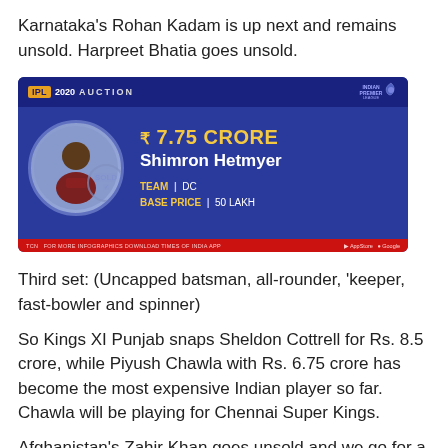Karnataka's Rohan Kadam is up next and remains unsold. Harpreet Bhatia goes unsold.
[Figure (infographic): IPL 2020 Auction card showing Shimron Hetmyer sold for ₹7.75 Crore to DC with base price 50 Lakh]
Third set: (Uncapped batsman, all-rounder, 'keeper, fast-bowler and spinner)
So Kings XI Punjab snaps Sheldon Cottrell for Rs. 8.5 crore, while Piyush Chawla with Rs. 6.75 crore has become the most expensive Indian player so far. Chawla will be playing for Chennai Super Kings.
Afghanistan's Zahir Khan goes unsold and we go for a five-minute break.